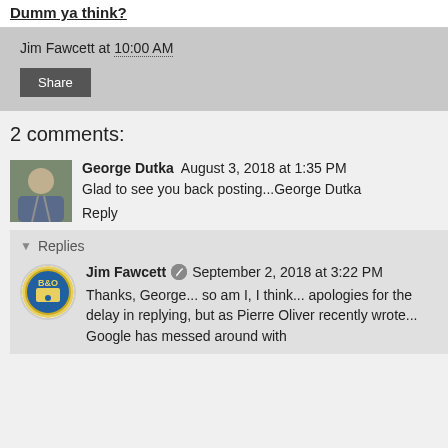Dumm ya think?
Jim Fawcett at 10:00 AM
Share
2 comments:
George Dutka  August 3, 2018 at 1:35 PM
Glad to see you back posting...George Dutka
Reply
Replies
Jim Fawcett  September 2, 2018 at 3:22 PM
Thanks, George... so am I, I think... apologies for the delay in replying, but as Pierre Oliver recently wrote... Google has messed around with